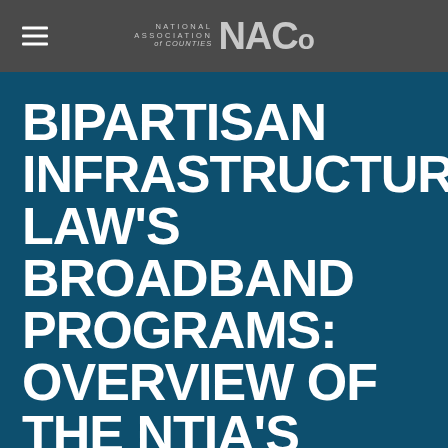NATIONAL ASSOCIATION of COUNTIES NACo
BIPARTISAN INFRASTRUCTURE LAW'S BROADBAND PROGRAMS: OVERVIEW OF THE NTIA'S NOTICE OF FUNDING OPPORTUNITIES